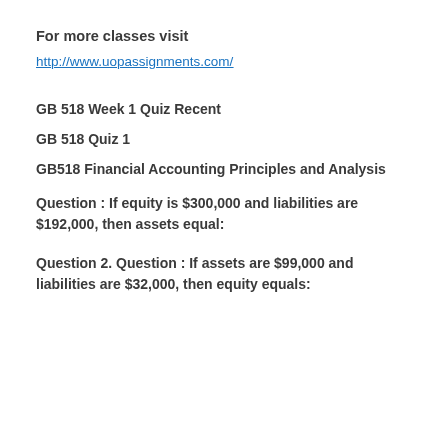For more classes visit
http://www.uopassignments.com/
GB 518 Week 1 Quiz Recent
GB 518 Quiz 1
GB518 Financial Accounting Principles and Analysis
Question : If equity is $300,000 and liabilities are $192,000, then assets equal:
Question 2. Question : If assets are $99,000 and liabilities are $32,000, then equity equals: